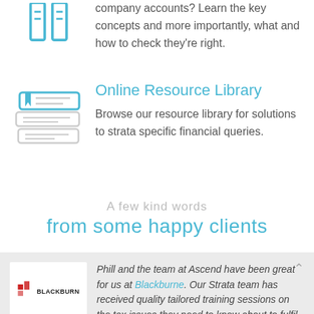[Figure (illustration): Blue icon of a book or stacked columns at top left (partially visible)]
company accounts? Learn the key concepts and more importantly, what and how to check they're right.
[Figure (illustration): Blue and grey icon of stacked books with bookmark]
Online Resource Library
Browse our resource library for solutions to strata specific financial queries.
A few kind words
from some happy clients
[Figure (logo): Blackburne company logo with red icon and black text]
Phill and the team at Ascend have been great for us at Blackburne. Our Strata team has received quality tailored training sessions on the tax issues they need to know about to fulfil their roles and the Ascend staff have all been